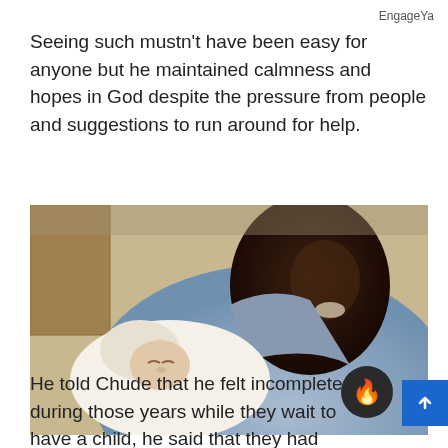EngageYa
Seeing such mustn't have been easy for anyone but he maintained calmness and hopes in God despite the pressure from people and suggestions to run around for help.
[Figure (photo): A man in a light blue shirt leaning over and looking at a newborn baby wrapped in white cloth]
He told Chude that he felt incomplete during those years while they wait to have a child, he said that they had already planned on adopting